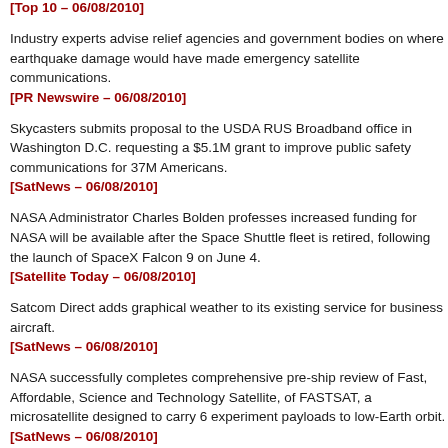[Top 10 – 06/08/2010]
Industry experts advise relief agencies and government bodies on where earthquake damage would have made emergency satellite communications.
[PR Newswire – 06/08/2010]
Skycasters submits proposal to the USDA RUS Broadband office in Washington D.C. requesting a $5.1M grant to improve public safety communications for 37M Americans.
[SatNews – 06/08/2010]
NASA Administrator Charles Bolden professes increased funding for NASA will be available after the Space Shuttle fleet is retired, following the launch of SpaceX Falcon 9 on June 4.
[Satellite Today – 06/08/2010]
Satcom Direct adds graphical weather to its existing service for business aircraft.
[SatNews – 06/08/2010]
NASA successfully completes comprehensive pre-ship review of Fast, Affordable, Science and Technology Satellite, of FASTSAT, a microsatellite designed to carry 6 experiment payloads to low-Earth orbit.
[SatNews – 06/08/2010]
German Earth observation satellite TanDEM-X, part of a science mission, is readied for launch at the Baikonur Cosmodrome in Kazakhstan.
[SatNews – 06/08/2010]